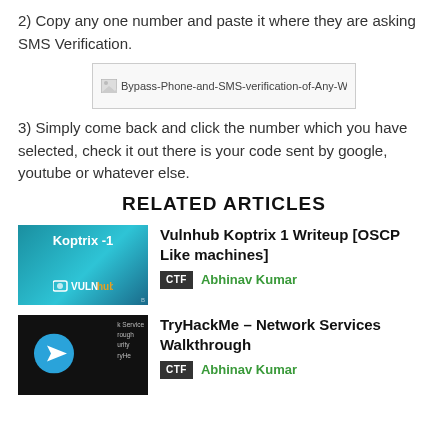2) Copy any one number and paste it where they are asking SMS Verification.
[Figure (screenshot): Broken image placeholder for Bypass-Phone-and-SMS-verification-of-Any-Website]
3) Simply come back and click the number which you have selected, check it out there is your code sent by google, youtube or whatever else.
RELATED ARTICLES
[Figure (illustration): Vulnhub Koptrix -1 thumbnail with teal background and VulnHub logo]
Vulnhub Koptrix 1 Writeup [OSCP Like machines]
CTF  Abhinav Kumar
[Figure (illustration): TryHackMe Network Services thumbnail with dark background and Telegram icon]
TryHackMe – Network Services Walkthrough
CTF  Abhinav Kumar